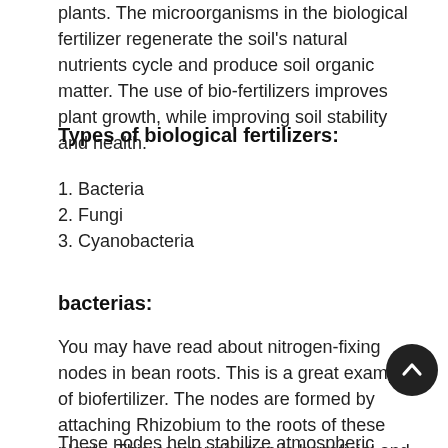plants. The microorganisms in the biological fertilizer regenerate the soil's natural nutrients cycle and produce soil organic matter. The use of bio-fertilizers improves plant growth, while improving soil stability and health.
Types of biological fertilizers:
1. Bacteria
2. Fungi
3. Cyanobacteria
bacterias:
You may have read about nitrogen-fixing nodes in bean roots. This is a great example of biofertilizer. The nodes are formed by attaching Rhizobium to the roots of these plants. This communication is beneficial and is therefore called "coexistence".
These nodes help stabilize atmospheric nitrogen in